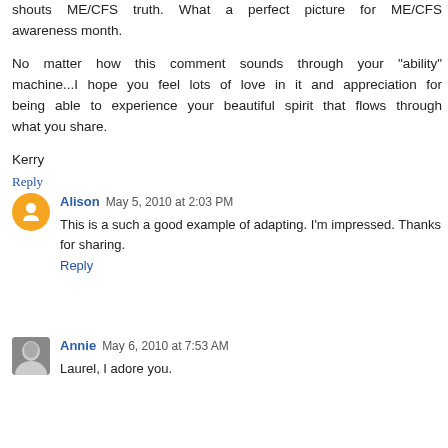shouts ME/CFS truth. What a perfect picture for ME/CFS awareness month.
No matter how this comment sounds through your "ability" machine...I hope you feel lots of love in it and appreciation for being able to experience your beautiful spirit that flows through what you share.
Kerry
Reply
Alison  May 5, 2010 at 2:03 PM
This is a such a good example of adapting. I'm impressed. Thanks for sharing.
Reply
Annie  May 6, 2010 at 7:53 AM
Laurel, I adore you.